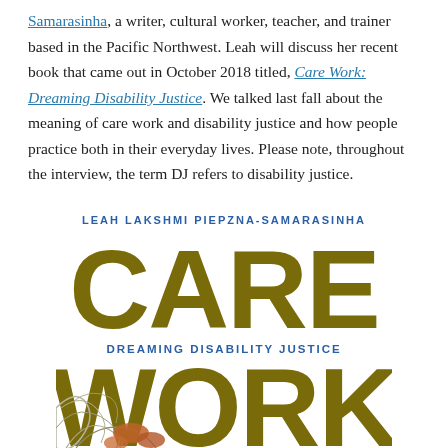Samarasinha, a writer, cultural worker, teacher, and trainer based in the Pacific Northwest. Leah will discuss her recent book that came out in October 2018 titled, Care Work: Dreaming Disability Justice. We talked last fall about the meaning of care work and disability justice and how people practice both in their everyday lives. Please note, throughout the interview, the term DJ refers to disability justice.
[Figure (illustration): Book cover of 'Care Work: Dreaming Disability Justice' by Leah Lakshmi Piepzna-Samarasinha. The cover shows the author name in blue at the top, large olive/dark yellow text reading 'CARE' and 'WORK' with 'DREAMING DISABILITY JUSTICE' in blue between them, and an illustrated background with tree roots and organic forms.]